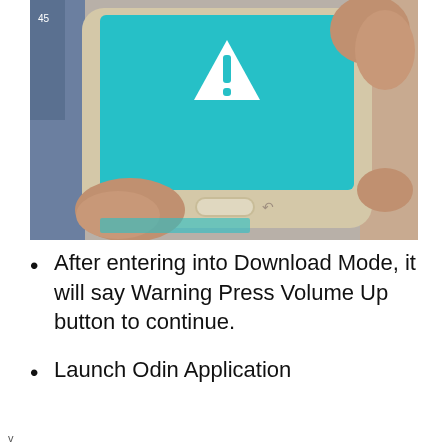[Figure (photo): A person holding a Samsung Android tablet showing a blue Download Mode warning screen with a white triangle exclamation mark icon. The tablet has a physical home button and a back button visible at the bottom bezel.]
After entering into Download Mode, it will say Warning Press Volume Up button to continue.
Launch Odin Application